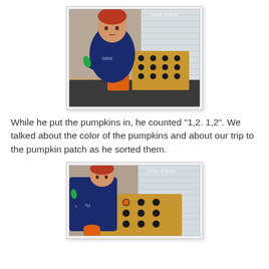[Figure (photo): Young red-haired toddler boy in a dark blue shirt reaching toward an orange pumpkin-shaped bucket placed in front of a cardboard box with holes, holding green scissors in his other hand. Indoor setting by a window with blinds. Watermark reads 'House of Burke'.]
While he put the pumpkins in, he counted "1,2. 1,2". We talked about the color of the pumpkins and about our trip to the pumpkin patch as he sorted them.
[Figure (photo): Same red-haired toddler boy leaning over a cardboard box with holes, placing small pumpkins into the holes. Holding green scissors in left hand, orange bucket nearby. Window with blinds in background. Watermark reads 'House of Burke'.]